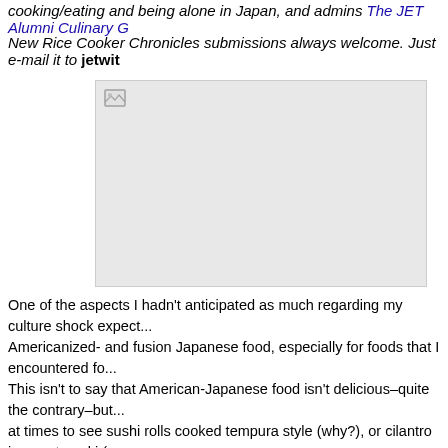cooking/eating and being alone in Japan, and admins The JET Alumni Culinary G...
New Rice Cooker Chronicles submissions always welcome. Just e-mail it to jetwit ...
[Figure (photo): A broken/missing image placeholder shown as a gray rectangle with a small image icon in the top-left corner.]
One of the aspects I hadn't anticipated as much regarding my culture shock expect... Americanized- and fusion Japanese food, especially for foods that I encountered fo... This isn't to say that American-Japanese food isn't delicious–quite the contrary–but... at times to see sushi rolls cooked tempura style (why?), or cilantro in your temaki (...